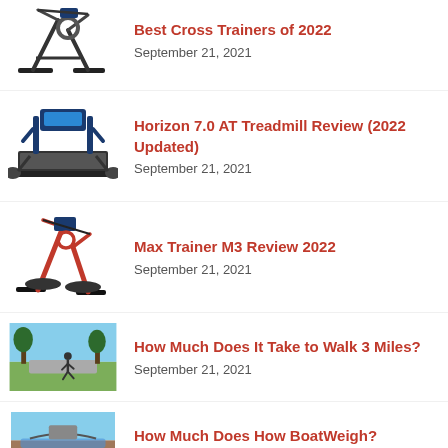Best Cross Trainers of 2022
September 21, 2021
Horizon 7.0 AT Treadmill Review (2022 Updated)
September 21, 2021
Max Trainer M3 Review 2022
September 21, 2021
How Much Does It Take to Walk 3 Miles?
September 21, 2021
How Much Does How BoatWeigh?
September 21, 2021